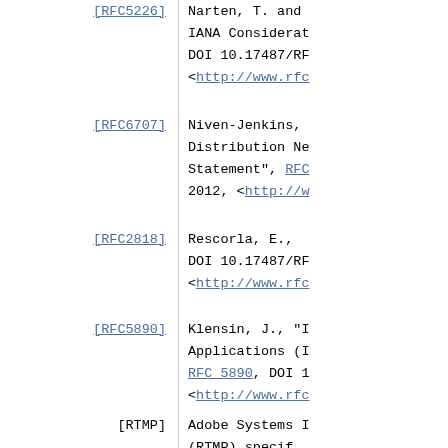[RFC5226]   Narten, T. and IANA Considerations DOI 10.17487/RF <http://www.rfc
[RFC6707]   Niven-Jenkins, Distribution Ne Statement", RFC 2012, <http://w
[RFC2818]   Rescorla, E., DOI 10.17487/RF <http://www.rfc
[RFC5890]   Klensin, J., Applications (I RFC 5890, DOI 1 <http://www.rfc
[RTMP]      Adobe Systems (RTMP) specif